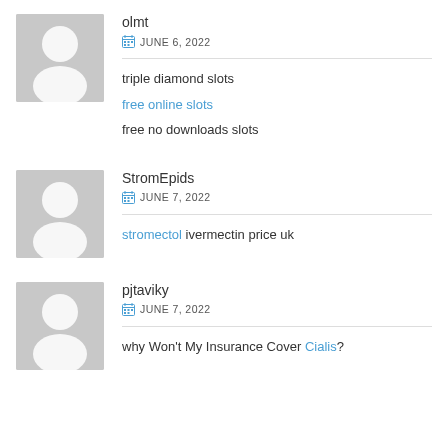olmt
JUNE 6, 2022
triple diamond slots
free online slots
free no downloads slots
StromEpids
JUNE 7, 2022
stromectol ivermectin price uk
pjtaviky
JUNE 7, 2022
why Won't My Insurance Cover Cialis?